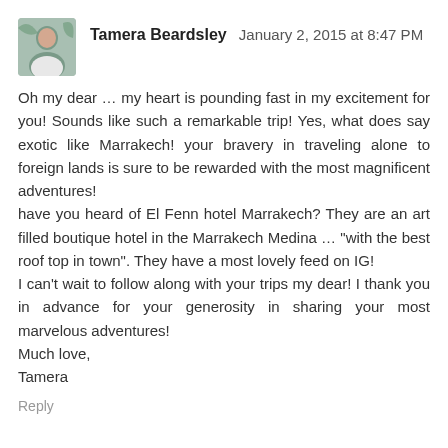Tamera Beardsley  January 2, 2015 at 8:47 PM
Oh my dear … my heart is pounding fast in my excitement for you! Sounds like such a remarkable trip! Yes, what does say exotic like Marrakech! your bravery in traveling alone to foreign lands is sure to be rewarded with the most magnificent adventures!
have you heard of El Fenn hotel Marrakech? They are an art filled boutique hotel in the Marrakech Medina … "with the best roof top in town". They have a most lovely feed on IG!
I can't wait to follow along with your trips my dear! I thank you in advance for your generosity in sharing your most marvelous adventures!
Much love,
Tamera
Reply